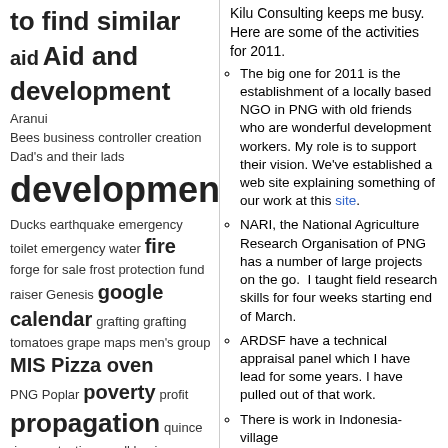to find similar aid Aid and development Aranui Bees business controller creation Dad's and their lads development Ducks earthquake emergency toilet emergency water fire forge for sale frost protection fund raiser Genesis google calendar grafting grafting tomatoes grape maps men's group MIS Pizza oven PNG Poplar poverty profit propagation quince river protection small business steel stevia sustainability trusses vegetables in tropics viminalis water water
Kilu Consulting keeps me busy. Here are some of the activities for 2011.
The big one for 2011 is the establishment of a locally based NGO in PNG with old friends who are wonderful development workers. My role is to support their vision. We've established a web site explaining something of our work at this site.
NARI, the National Agriculture Research Organisation of PNG has a number of large projects on the go.  I taught field research skills for four weeks starting end of March.
ARDSF have a technical appraisal panel which I have lead for some years. I have pulled out of that work.
There is work in Indonesia- village